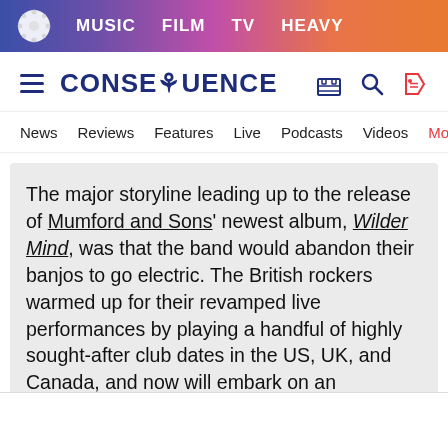MUSIC  FILM  TV  HEAVY
CONSEQUENCE
News  Reviews  Features  Live  Podcasts  Videos  Mobile A
The major storyline leading up to the release of Mumford and Sons' newest album, Wilder Mind, was that the band would abandon their banjos to go electric. The British rockers warmed up for their revamped live performances by playing a handful of highly sought-after club dates in the US, UK, and Canada, and now will embark on an international stadium tour. Interspersed